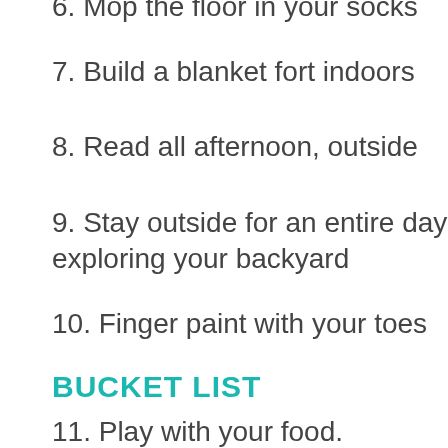6. Mop the floor in your socks
7. Build a blanket fort indoors
8. Read all afternoon, outside
9. Stay outside for an entire day exploring your backyard
10. Finger paint with your toes
BUCKET LIST
11. Play with your food.